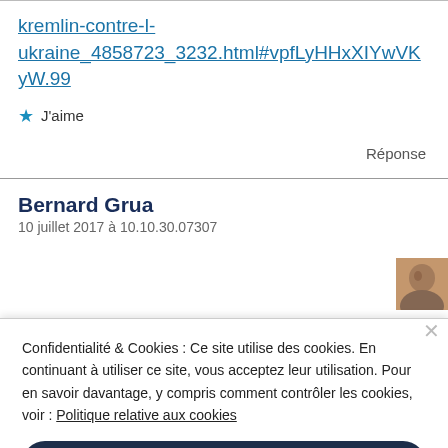kremlin-contre-l-ukraine_4858723_3232.html#vpfLyHHxXIYwVKyW.99
★ J'aime
Réponse
Bernard Grua
10 juillet 2017 à 10.10.30.07307
Confidentialité & Cookies : Ce site utilise des cookies. En continuant à utiliser ce site, vous acceptez leur utilisation. Pour en savoir davantage, y compris comment contrôler les cookies, voir : Politique relative aux cookies
Fermer et accepter